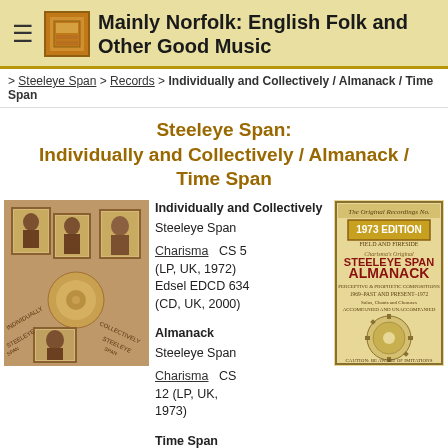Mainly Norfolk: English Folk and Other Good Music
> Steeleye Span > Records > Individually and Collectively / Almanack / Time Span
Steeleye Span: Individually and Collectively / Almanack / Time Span
Individually and Collectively
Steeleye Span
Charisma CS 5 (LP, UK, 1972)
Edsel EDCD 634 (CD, UK, 2000)
Almanack
Steeleye Span
Charisma CS 12 (LP, UK, 1973)
Time Span
[Figure (photo): Album cover for Individually and Collectively by Steeleye Span — vintage-style photo montage with portrait frames on textured background]
[Figure (photo): Album cover for Steeleye Span Almanack 1973 Edition — decorative text on aged paper with gear/clock imagery]